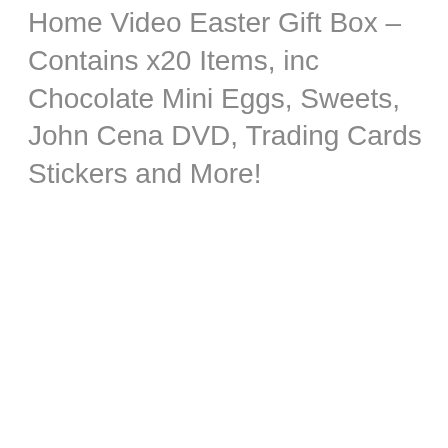Home Video Easter Gift Box – Contains x20 Items, inc Chocolate Mini Eggs, Sweets, John Cena DVD, Trading Cards Stickers and More!
[Figure (other): Navigation left arrow button (dark grey) and right arrow button (blue-grey) for image carousel]